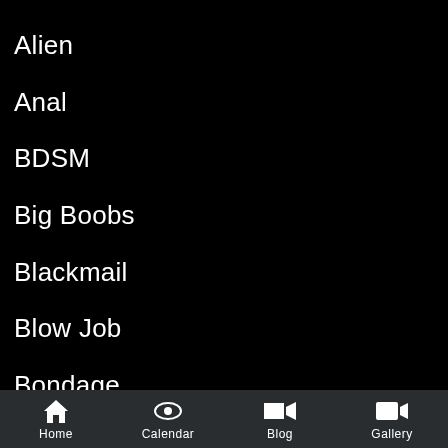Alien
Anal
BDSM
Big Boobs
Blackmail
Blow Job
Bondage
Boob Job
Cheating
Comedy
Cosplay
Creampie
Dark Skin
Deep Throat
Demon
Doctor
Home  Calendar  Blog  Gallery